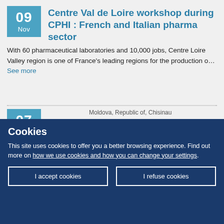Centre Val de Loire workshop during CPHI : French and Italian pharma sector
With 60 pharmaceutical laboratories and 10,000 jobs, Centre Loire Valley region is one of France's leading regions for the production o... See more
CLUSTERS as drivers of Resilient, Digital and Green Economic Competitiveness
Moldova, Republic of, Chisinau
Cookies
This site uses cookies to offer you a better browsing experience. Find out more on how we use cookies and how you can change your settings.